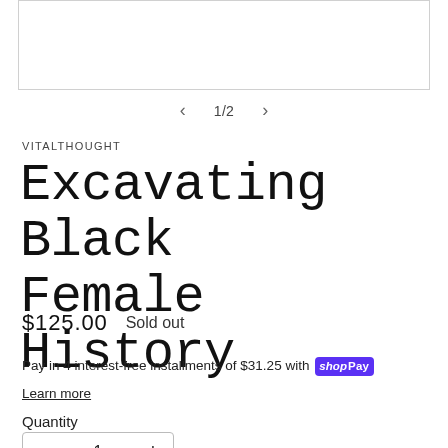[Figure (photo): Product image area with border, appears mostly blank/white at top of page]
< 1/2 >
VITALTHOUGHT
Excavating Black Female History
$125.00   Sold out
Pay in 4 interest-free installments of $31.25 with shop Pay
Learn more
Quantity
− 1 +